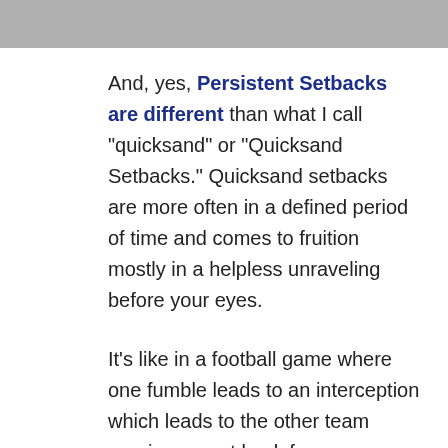[Figure (photo): Partial photo visible at top of page, appears to be a sports or outdoor scene in grayscale]
And, yes, Persistent Setbacks are different than what I call "quicksand" or "Quicksand Setbacks." Quicksand setbacks are more often in a defined period of time and comes to fruition mostly in a helpless unraveling before your eyes.
It's like in a football game where one fumble leads to an interception which leads to the other team running a punt back for a touchdown. Everyone fights as hard as they can, but the math changes